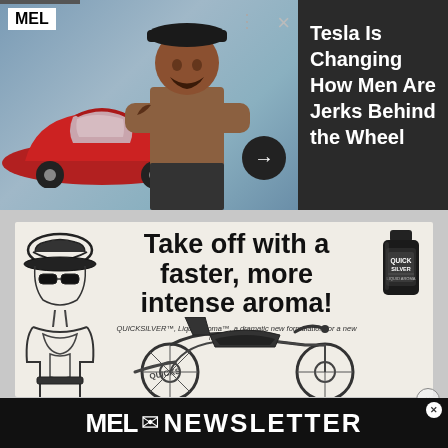[Figure (screenshot): MEL magazine article ad banner showing a red Tesla car and a shirtless tattooed man with crossed arms, with a dark sidebar showing the headline 'Tesla Is Changing How Men Are Jerks Behind the Wheel' and a forward arrow button.]
Tesla Is Changing How Men Are Jerks Behind the Wheel
[Figure (advertisement): Black and white vintage-style advertisement for Quicksilver Liquid Aroma product. Features an illustration of a shirtless man in a leather cap and a motorcycle. Headline reads 'Take off with a faster, more intense aroma!' with subtext 'QUICKSILVER™, Liquid Aroma™, a dramatic new formulation for a new level of intensity.' A small bottle of Quicksilver product is shown in the upper right.]
MEL ✉ NEWSLETTER